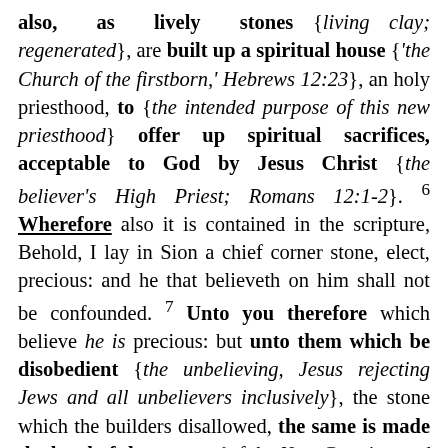also, as lively stones {living clay; regenerated}, are built up a spiritual house {'the Church of the firstborn,' Hebrews 12:23}, an holy priesthood, to {the intended purpose of this new priesthood} offer up spiritual sacrifices, acceptable to God by Jesus Christ {the believer's High Priest; Romans 12:1-2}. 6 Wherefore also it is contained in the scripture, Behold, I lay in Sion a chief corner stone, elect, precious: and he that believeth on him shall not be confounded. 7 Unto you therefore which believe he is precious: but unto them which be disobedient {the unbelieving, Jesus rejecting Jews and all unbelievers inclusively}, the stone which the builders disallowed, the same is made the head of the corner {of the New Creation and 'church of the firstborn'}, 8 And a stone of